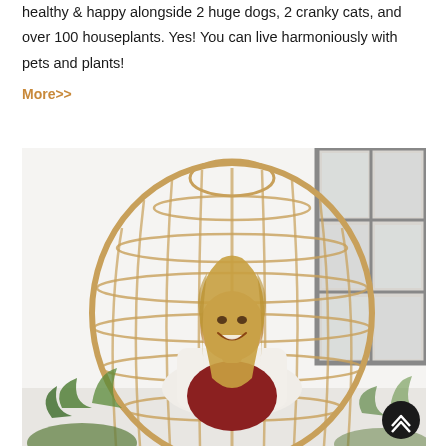healthy & happy alongside 2 huge dogs, 2 cranky cats, and over 100 houseplants. Yes! You can live harmoniously with pets and plants!
More>>
[Figure (photo): A smiling blonde woman sitting inside a large wicker egg/pod chair in a bright white studio space with industrial windows. Houseplants visible in the foreground bottom.]